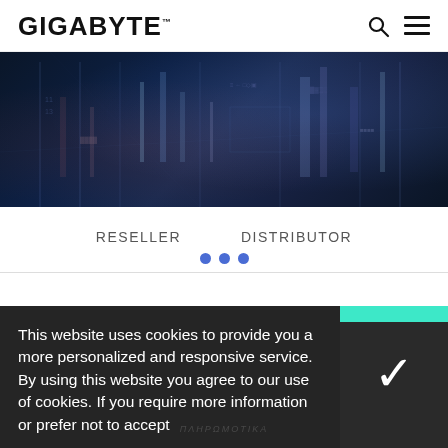GIGABYTE
[Figure (photo): Dark night city aerial view banner with blue and red lighting accents]
RESELLER   DISTRIBUTOR
[Figure (other): Three blue dots navigation indicator below tab bar]
This website uses cookies to provide you a more personalized and responsive service. By using this website you agree to our use of cookies. If you require more information or prefer not to accept